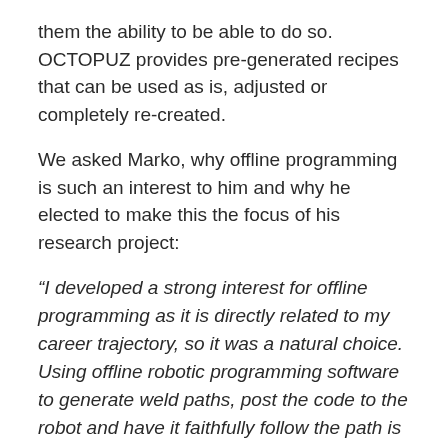them the ability to be able to do so. OCTOPUZ provides pre-generated recipes that can be used as is, adjusted or completely re-created.
We asked Marko, why offline programming is such an interest to him and why he elected to make this the focus of his research project:
“I developed a strong interest for offline programming as it is directly related to my career trajectory, so it was a natural choice. Using offline robotic programming software to generate weld paths, post the code to the robot and have it faithfully follow the path is an industry standard; everybody is doing it. Unfortunately, as of right now we don’t have anything that’s going to prepare us to do that until we get into the field.”